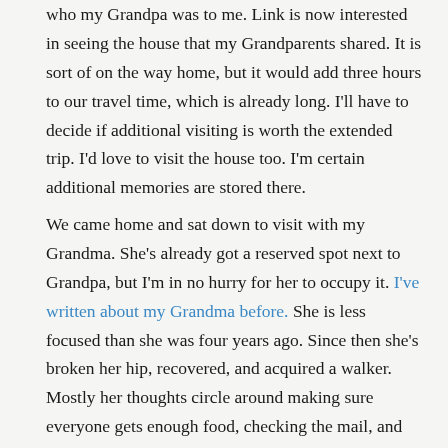who my Grandpa was to me. Link is now interested in seeing the house that my Grandparents shared. It is sort of on the way home, but it would add three hours to our travel time, which is already long. I'll have to decide if additional visiting is worth the extended trip. I'd love to visit the house too. I'm certain additional memories are stored there.
We came home and sat down to visit with my Grandma. She's already got a reserved spot next to Grandpa, but I'm in no hurry for her to occupy it. I've written about my Grandma before. She is less focused than she was four years ago. Since then she's broken her hip, recovered, and acquired a walker. Mostly her thoughts circle around making sure everyone gets enough food, checking the mail, and watching out the window to tell me that the folks across the street who've torn up their yard are doing it wrong. Sometimes her thoughts do wander through memories. Then I get to hear fragments of stories and I catch them as they go past. Today something reminded her of the house fire which happened the year